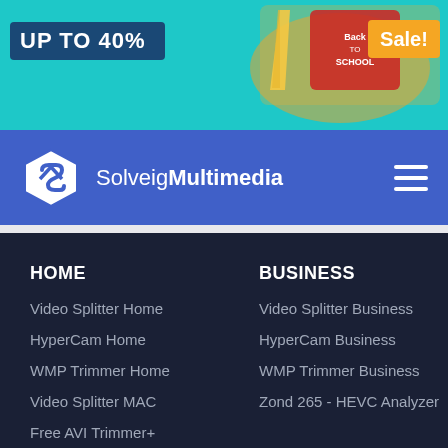[Figure (illustration): Back to school sale banner with teal background, pencils and books illustration, 'UP TO 40%' text and 'Sale!' badge]
[Figure (logo): SolveigMultimedia logo with hexagonal S icon on blue navigation bar with hamburger menu]
HOME
Video Splitter Home
HyperCam Home
WMP Trimmer Home
Video Splitter MAC
Free AVI Trimmer+
BUSINESS
Video Splitter Business
HyperCam Business
WMP Trimmer Business
Zond 265 - HEVC Analyzer